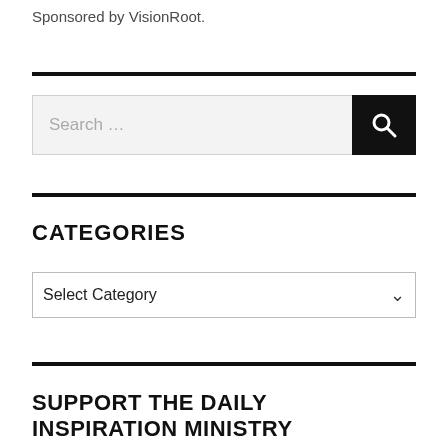Sponsored by VisionRoot.
Search ...
CATEGORIES
Select Category
SUPPORT THE DAILY INSPIRATION MINISTRY